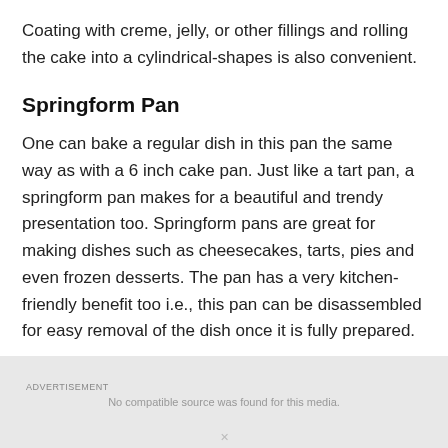Coating with creme, jelly, or other fillings and rolling the cake into a cylindrical-shapes is also convenient.
Springform Pan
One can bake a regular dish in this pan the same way as with a 6 inch cake pan. Just like a tart pan, a springform pan makes for a beautiful and trendy presentation too. Springform pans are great for making dishes such as cheesecakes, tarts, pies and even frozen desserts. The pan has a very kitchen-friendly benefit too i.e., this pan can be disassembled for easy removal of the dish once it is fully prepared.
[Figure (other): Advertisement banner with gray background, showing ad label and close button]